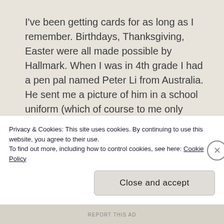I've been getting cards for as long as I remember. Birthdays, Thanksgiving, Easter were all made possible by Hallmark. When I was in 4th grade I had a pen pal named Peter Li from Australia. He sent me a picture of him in a school uniform (which of course to me only signified he was Catholic) and his handwriting despite only being 10 years old was written in a beautiful cursive script I'd only seen in British films about the 1800s. (I switched our conversations to email out
Privacy & Cookies: This site uses cookies. By continuing to use this website, you agree to their use.
To find out more, including how to control cookies, see here: Cookie Policy
Close and accept
REPORT THIS AD